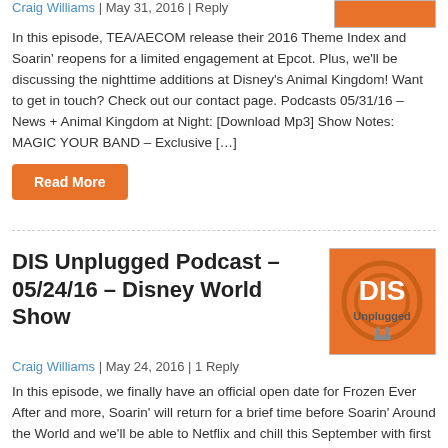Craig Williams | May 31, 2016 | Reply
In this episode, TEA/AECOM release their 2016 Theme Index and Soarin' reopens for a limited engagement at Epcot. Plus, we'll be discussing the nighttime additions at Disney's Animal Kingdom! Want to get in touch? Check out our contact page. Podcasts 05/31/16 – News + Animal Kingdom at Night: [Download Mp3] Show Notes: MAGIC YOUR BAND – Exclusive […]
Read More
DIS Unplugged Podcast – 05/24/16 – Disney World Show
Craig Williams | May 24, 2016 | 1 Reply
In this episode, we finally have an official open date for Frozen Ever After and more, Soarin' will return for a brief time before Soarin' Around the World and we'll be able to Netflix and chill this September with first run Disney movies on coming to the